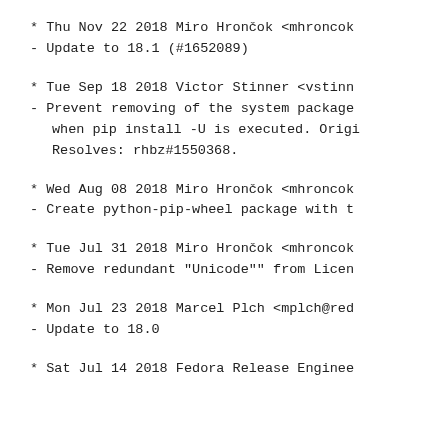* Thu Nov 22 2018 Miro Hrončok <mhroncok
- Update to 18.1 (#1652089)
* Tue Sep 18 2018 Victor Stinner <vstinn
- Prevent removing of the system package when pip install -U is executed. Origi Resolves: rhbz#1550368.
* Wed Aug 08 2018 Miro Hrončok <mhroncok
- Create python-pip-wheel package with t
* Tue Jul 31 2018 Miro Hrončok <mhroncok
- Remove redundant "Unicode"" from Licen
* Mon Jul 23 2018 Marcel Plch <mplch@red
- Update to 18.0
* Sat Jul 14 2018 Fedora Release Enginee